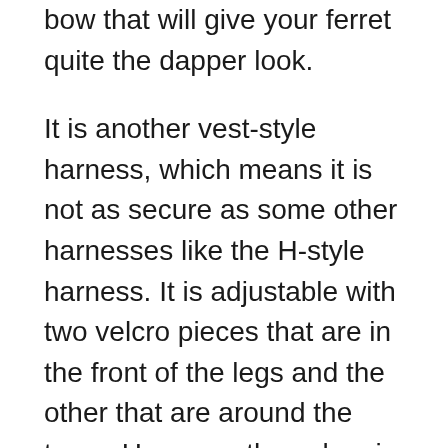bow that will give your ferret quite the dapper look.
It is another vest-style harness, which means it is not as secure as some other harnesses like the H-style harness. It is adjustable with two velcro pieces that are in the front of the legs and the other that are around the torso. However, the velcro is not as secure as some other clasps, so you should have your ferret spend some time in the harness around the house first to make sure your ferret is snugly trapped inside.
It is made out of mesh fabric that is both very comfortable and breathable. There is also a ring